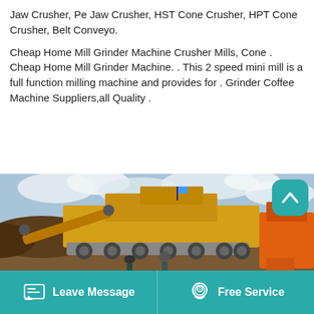Jaw Crusher, Pe Jaw Crusher, HST Cone Crusher, HPT Cone Crusher, Belt Conveyo.
Cheap Home Mill Grinder Machine Crusher Mills, Cone . Cheap Home Mill Grinder Machine. . This 2 speed mini mill is a full function milling machine and provides for . Grinder Coffee Machine Suppliers,all Quality .
[Figure (photo): Large yellow mobile jaw crusher machine on a construction/mining site with workers and orange equipment in the background under a cloudy sky.]